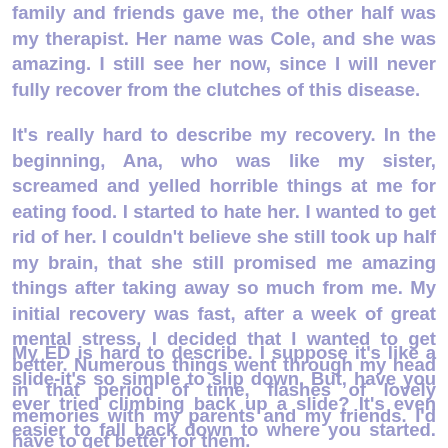family and friends gave me, the other half was my therapist. Her name was Cole, and she was amazing. I still see her now, since I will never fully recover from the clutches of this disease.
It's really hard to describe my recovery. In the beginning, Ana, who was like my sister, screamed and yelled horrible things at me for eating food. I started to hate her. I wanted to get rid of her. I couldn't believe she still took up half my brain, that she still promised me amazing things after taking away so much from me. My initial recovery was fast, after a week of great mental stress, I decided that I wanted to get better. Numerous things went through my head in that period of time, flashes of lovely memories with my parents and my friends. I'd have to get better for them.
My ED is hard to describe. I suppose it's like a slide-it's so simple to slip down. But, have you ever tried climbing back up a slide? It's even easier to fall back down to where you started. And I did, after every small step up, I took a gigantic leap down. There were constant